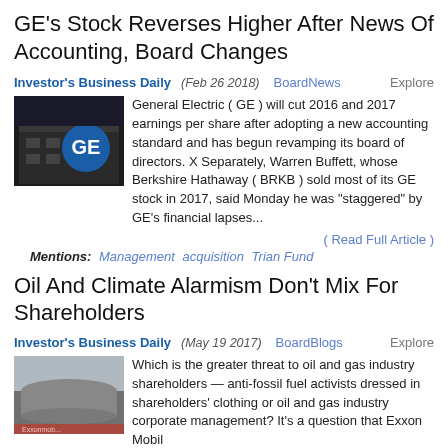GE's Stock Reverses Higher After News Of Accounting, Board Changes
Investor's Business Daily (Feb 26 2018) BoardNews Explore
General Electric ( GE ) will cut 2016 and 2017 earnings per share after adopting a new accounting standard and has begun revamping its board of directors. X Separately, Warren Buffett, whose Berkshire Hathaway ( BRKB ) sold most of its GE stock in 2017, said Monday he was "staggered" by GE's financial lapses...
( Read Full Article )
Mentions: Management acquisition Trian Fund
Oil And Climate Alarmism Don't Mix For Shareholders
Investor's Business Daily (May 19 2017) BoardBlogs Explore
Which is the greater threat to oil and gas industry shareholders — anti-fossil fuel activists dressed in shareholders' clothing or oil and gas industry corporate management? It's a question that Exxon Mobil